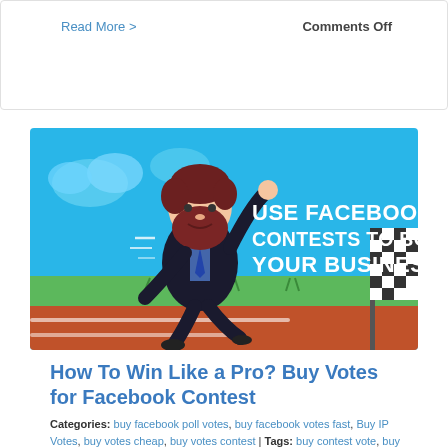Read More >
Comments Off
[Figure (illustration): Cartoon businessman with beard running on a race track toward a checkered flag. Blue sky with clouds background, green grass strip, orange/red track. White bold text reads: USE FACEBOOK CONTESTS TO BOOST YOUR BUSINESS]
How To Win Like a Pro? Buy Votes for Facebook Contest
Categories: buy facebook poll votes, buy facebook votes fast, Buy IP Votes, buy votes cheap, buy votes contest | Tags: buy contest vote, buy votes for online poll, buy wavo votes, get